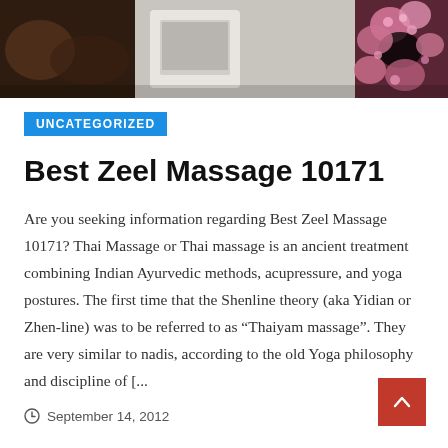[Figure (photo): Header image collage showing spa/massage-related scenes including flowers and a device, dark tones]
UNCATEGORIZED
Best Zeel Massage 10171
Are you seeking information regarding Best Zeel Massage 10171? Thai Massage or Thai massage is an ancient treatment combining Indian Ayurvedic methods, acupressure, and yoga postures. The first time that the Shenline theory (aka Yidian or Zhen-line) was to be referred to as “Thaiyam massage”. They are very similar to nadis, according to the old Yoga philosophy and discipline of [...
September 14, 2012